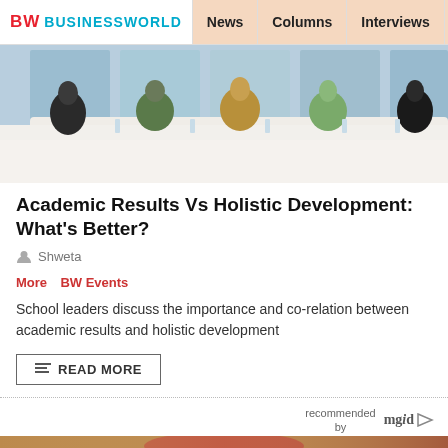BW BUSINESSWORLD | News | Columns | Interviews | BW
[Figure (photo): Panel of women seated at a conference table at a BW event, with a light blue backdrop]
Academic Results Vs Holistic Development: What’s Better?
Shweta
More  BW Events
School leaders discuss the importance and co-relation between academic results and holistic development
READ MORE
recommended by mgid